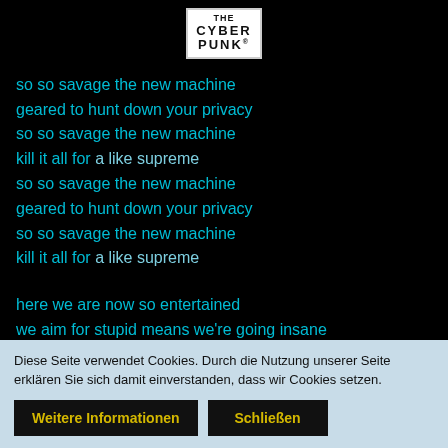[Figure (logo): THE CYBERPUNK logo in white box with border]
so so savage the new machine
geared to hunt down your privacy
so so savage the new machine
kill it all for a like supreme
so so savage the new machine
geared to hunt down your privacy
so so savage the new machine
kill it all for a like supreme
here we are now so entertained
we aim for stupid means we're going insane
conflict is order
there's war in peace
adjust the language
Diese Seite verwendet Cookies. Durch die Nutzung unserer Seite erklären Sie sich damit einverstanden, dass wir Cookies setzen.
Weitere Informationen  Schließen